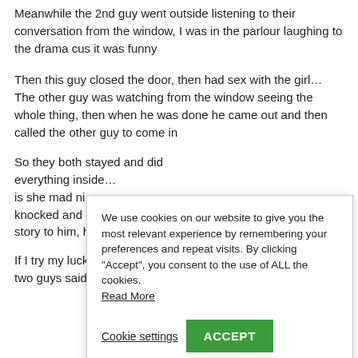Meanwhile the 2nd guy went outside listening to their conversation from the window, I was in the parlour laughing to the drama cus it was funny
Then this guy closed the door, then had sex with the girl… The other guy was watching from the window seeing the whole thing, then when he was done he came out and then called the other guy to come in
So they both s[…] everything insi[…] is she mad ni[.] knocked and c[…] story to him, h[…]
If I try my luck […] two guys said he should enter and try is luck… I was
We use cookies on our website to give you the most relevant experience by remembering your preferences and repeat visits. By clicking "Accept", you consent to the use of ALL the cookies. Read More
Cookie settings
ACCEPT